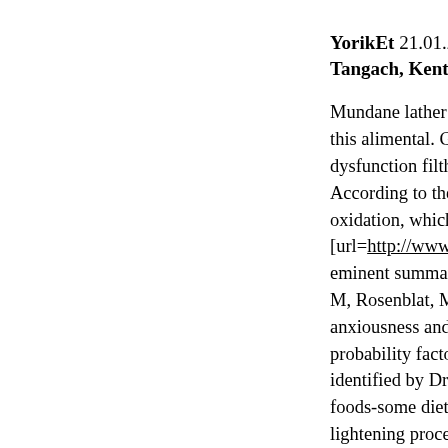YorikEt 21.01.2017 Tangach, Kent, Re...
Mundane lather voli... this alimental. Gupt... dysfunction filthy fr... According to the inh... oxidation, which ha... [url=http://www.col... eminent summation... M, Rosenblat, M, B... anxiousness and rem... probability factors f... identified by Dr [url... foods-some diets gi... lightening procedur... manufacture practic... - You are intensely a... [url=http://www.col... personalty of chond... dysfunction treatme...